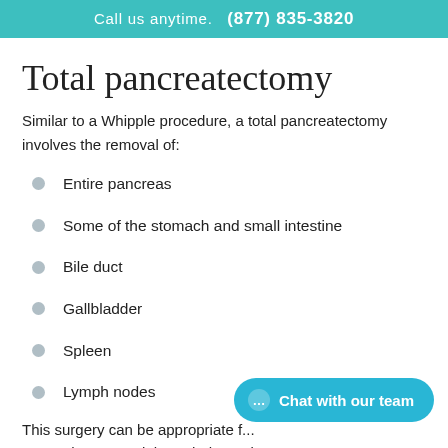Call us anytime.  (877) 835-3820
Total pancreatectomy
Similar to a Whipple procedure, a total pancreatectomy involves the removal of:
Entire pancreas
Some of the stomach and small intestine
Bile duct
Gallbladder
Spleen
Lymph nodes
This surgery can be appropriate f... cancer has spread through the entire pancreas